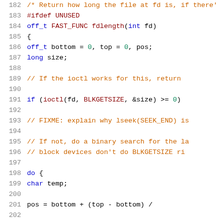[Figure (screenshot): Source code listing showing lines 182-202 of a C program implementing fdlength function, with syntax highlighting. Line numbers in gray on left, keywords in blue, comments in orange, preprocessor directives and function names in dark red, numeric literals in green.]